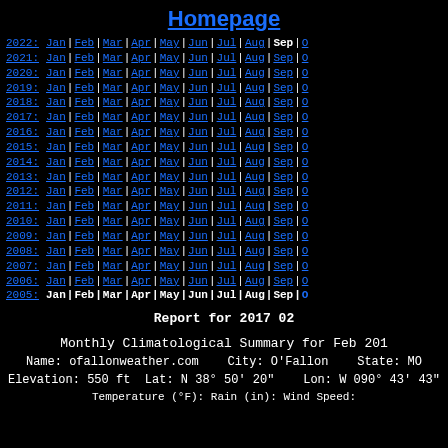Homepage
| Year | Jan | Feb | Mar | Apr | May | Jun | Jul | Aug | Sep | O... |
| --- | --- | --- | --- | --- | --- | --- | --- | --- | --- | --- |
| 2022: | Jan | Feb | Mar | Apr | May | Jun | Jul | Aug | Sep | O |
| 2021: | Jan | Feb | Mar | Apr | May | Jun | Jul | Aug | Sep | O |
| 2020: | Jan | Feb | Mar | Apr | May | Jun | Jul | Aug | Sep | O |
| 2019: | Jan | Feb | Mar | Apr | May | Jun | Jul | Aug | Sep | O |
| 2018: | Jan | Feb | Mar | Apr | May | Jun | Jul | Aug | Sep | O |
| 2017: | Jan | Feb | Mar | Apr | May | Jun | Jul | Aug | Sep | O |
| 2016: | Jan | Feb | Mar | Apr | May | Jun | Jul | Aug | Sep | O |
| 2015: | Jan | Feb | Mar | Apr | May | Jun | Jul | Aug | Sep | O |
| 2014: | Jan | Feb | Mar | Apr | May | Jun | Jul | Aug | Sep | O |
| 2013: | Jan | Feb | Mar | Apr | May | Jun | Jul | Aug | Sep | O |
| 2012: | Jan | Feb | Mar | Apr | May | Jun | Jul | Aug | Sep | O |
| 2011: | Jan | Feb | Mar | Apr | May | Jun | Jul | Aug | Sep | O |
| 2010: | Jan | Feb | Mar | Apr | May | Jun | Jul | Aug | Sep | O |
| 2009: | Jan | Feb | Mar | Apr | May | Jun | Jul | Aug | Sep | O |
| 2008: | Jan | Feb | Mar | Apr | May | Jun | Jul | Aug | Sep | O |
| 2007: | Jan | Feb | Mar | Apr | May | Jun | Jul | Aug | Sep | O |
| 2006: | Jan | Feb | Mar | Apr | May | Jun | Jul | Aug | Sep | O |
| 2005: | Jan | Feb | Mar | Apr | May | Jun | Jul | Aug | Sep | O |
Report for 2017 02
Monthly Climatological Summary for Feb 201...
Name: ofallonweather.com    City: O'Fallon    State: MO
Elevation: 550 ft   Lat: N 38° 50' 20"    Lon: W 090° 43' 43"
Temperature (°F): Rain (in): Wind Speed: